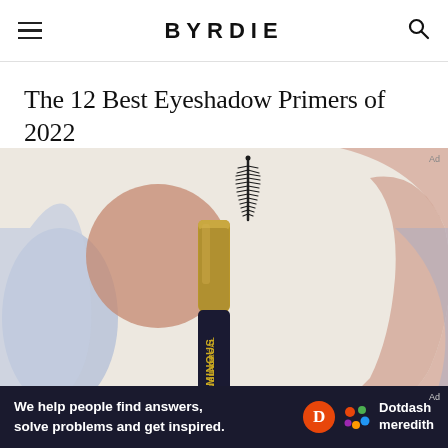BYRDIE
The 12 Best Eyeshadow Primers of 2022
[Figure (photo): A L'Oreal Luminous Carbon Black mascara tube with wand extended, set against a decorative background with abstract shapes in muted blue, pink/mauve, and terracotta tones on a light beige background.]
We help people find answers, solve problems and get inspired. Dotdash meredith